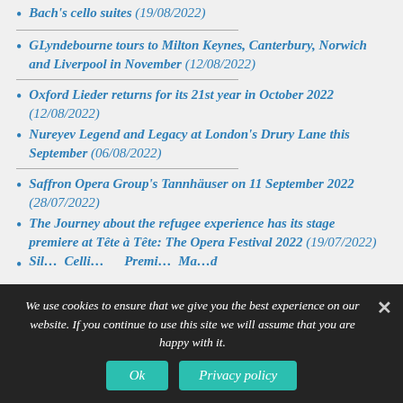Bach's cello suites (19/08/2022)
GLyndebourne tours to Milton Keynes, Canterbury, Norwich and Liverpool in November (12/08/2022)
Oxford Lieder returns for its 21st year in October 2022 (12/08/2022)
Nureyev Legend and Legacy at London's Drury Lane this September (06/08/2022)
Saffron Opera Group's Tannhäuser on 11 September 2022 (28/07/2022)
The Journey about the refugee experience has its stage premiere at Tête à Tête: The Opera Festival 2022 (19/07/2022)
We use cookies to ensure that we give you the best experience on our website. If you continue to use this site we will assume that you are happy with it.
Ok | Privacy policy